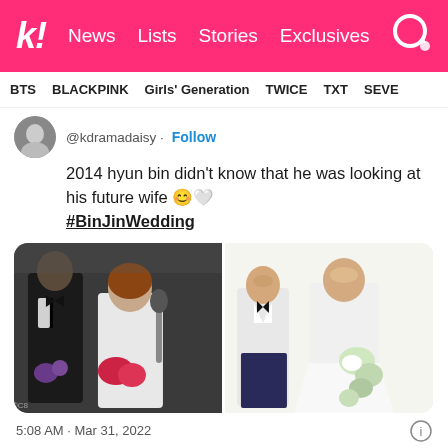k! News Lists Stories Exclusives
BTS BLACKPINK Girls' Generation TWICE TXT SEVE
@kdramadaisy · Follow
2014 hyun bin didn't know that he was looking at his future wife 😊🤍 #BinJinWedding
[Figure (photo): Two side-by-side photos: left shows a man in a tuxedo and a woman in a white gown with red bouquet at what appears to be a 2014 event; right shows the couple in an official wedding photo, the woman in a white bridal dress holding a floral bouquet.]
5:08 AM · Mar 31, 2022